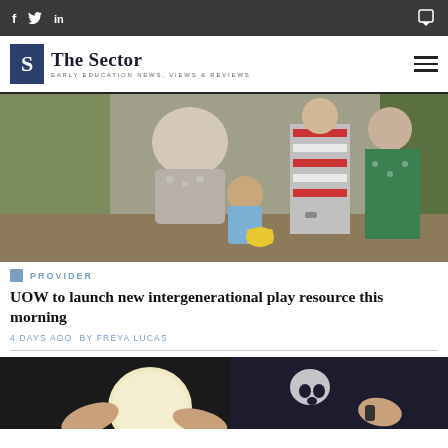f  twitter  in  [chat icon]
[Figure (logo): The Sector logo — blue S box, text 'The Sector', tagline 'EARLY EDUCATION NEWS, VIEWS & REVIEWS']
[Figure (photo): Older woman bending over helping a young child outdoors, other adults standing nearby, greenery in background]
PROVIDER
UOW to launch new intergenerational play resource this morning
4 DAYS AGO  BY FREYA LUCAS
[Figure (photo): Close-up of hands and a round object on a dark surface, partially visible]